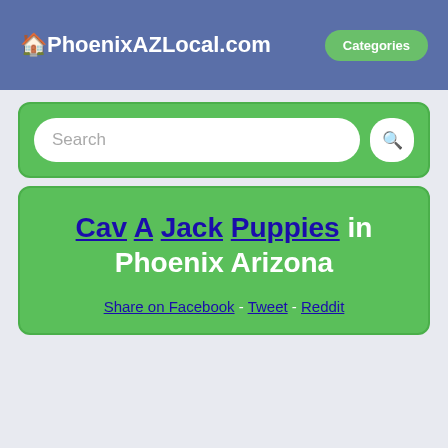🏠PhoenixAZLocal.com  Categories
[Figure (screenshot): Search bar with text input and search button on green background]
Cav A Jack Puppies in Phoenix Arizona
Share on Facebook - Tweet - Reddit